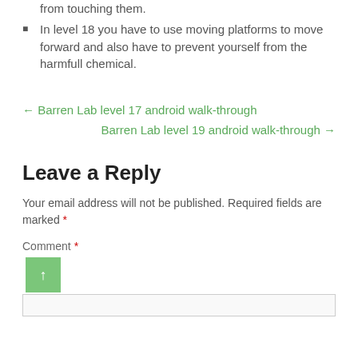from touching them.
In level 18 you have to use moving platforms to move forward and also have to prevent yourself from the harmfull chemical.
← Barren Lab level 17 android walk-through
Barren Lab level 19 android walk-through →
Leave a Reply
Your email address will not be published. Required fields are marked *
Comment *